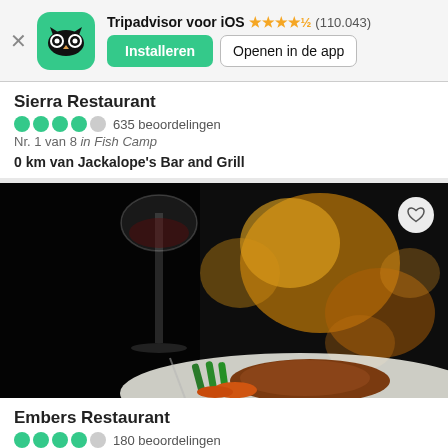Tripadvisor voor iOS ★★★★½ (110.043) Installeren | Openen in de app
Sierra Restaurant
●●●●○ 635 beoordelingen
Nr. 1 van 8 in Fish Camp
0 km van Jackalope's Bar and Grill
[Figure (photo): Close-up photo of a restaurant meal: a wine glass in the foreground with a plate of steak, asparagus, and carrots, set against a dark background with warm bokeh light spots.]
Embers Restaurant
●●●●○ 180 beoordelingen